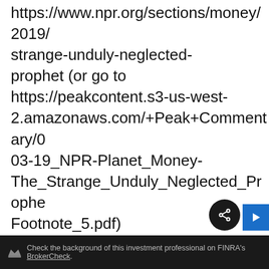https://www.npr.org/sections/money/2019/ strange-unduly-neglected-prophet (or go to https://peakcontent.s3-us-west-2.amazonaws.com/+Peak+Commentary/03-19_NPR-Planet_Money-The_Strange_Unduly_Neglected_Prophet_Footnote_5.pdf)
https://www.economist.com/finance-and-economics/2018/02/03/why-sub-zero-interest-rates-are-neither-
Check the background of this investment professional on FINRA's BrokerCheck.